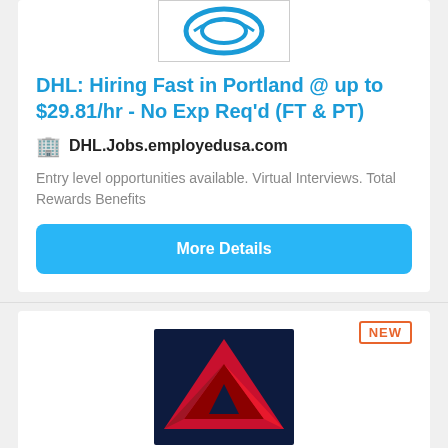[Figure (logo): DHL logo (partial, blue swirl visible) in a bordered box]
DHL: Hiring Fast in Portland @ up to $29.81/hr - No Exp Req'd (FT & PT)
🏢 DHL.Jobs.employedusa.com
Entry level opportunities available. Virtual Interviews. Total Rewards Benefits
More Details
[Figure (logo): Delta Air Lines logo — dark navy background with red geometric delta/triangle shape]
NEW